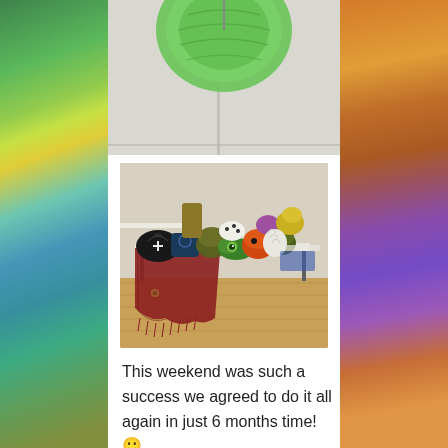[Figure (photo): Cropped top portion of a photo showing a large green circular felted artwork hanging on a wall in a hall/studio setting]
[Figure (photo): Photo of multiple colorful felted creatures and objects displayed on a table in a studio or hall setting. Items include bowls, vessels, and small animal-like felt sculptures in various colors. A felted textile with fringe drapes over the table edge.]
This weekend was such a success we agreed to do it all again in just 6 months time! 🙂